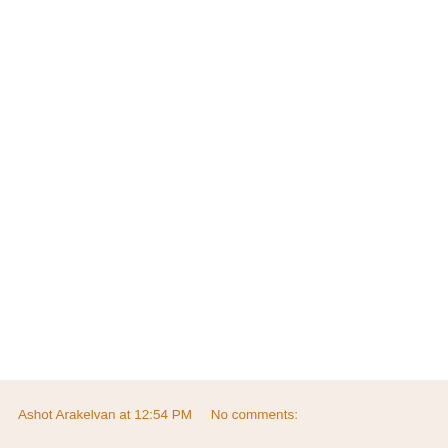Ashot Arakelvan at 12:54 PM    No comments: